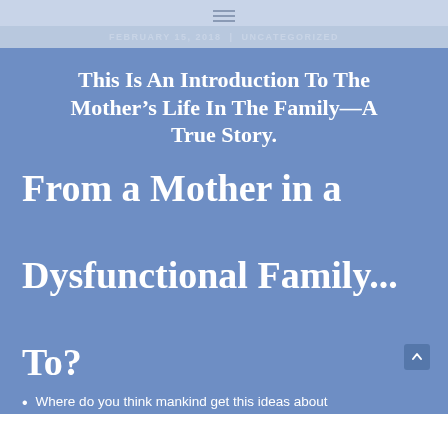FEBRUARY 15, 2018 | UNCATEGORIZED
This Is An Introduction To The Mother’s Life In The Family—A True Story.
From a Mother in a Dysfunctional Family... To?
Where do you think mankind get this ideas about